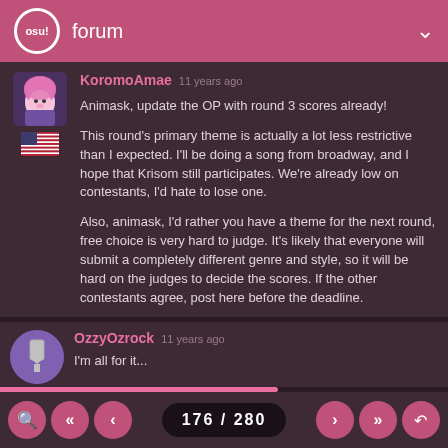osu! forum
KoromoAmae 11 years ago
Animask, update the OP with round 3 scores already!

This round's primary theme is actually a lot less restrictive than I expected. I'll be doing a song from broadway, and I hope that Krisom still participates. We're already low on contestants, I'd hate to lose one.

Also, animask, I'd rather you have a theme for the next round, free choice is very hard to judge. It's likely that everyone will submit a completely different genre and style, so it will be hard on the judges to decide the scores. If the other contestants agree, post here before the deadline.
OzzyOzrock 11 years ago
I'm all for it...
176 / 280